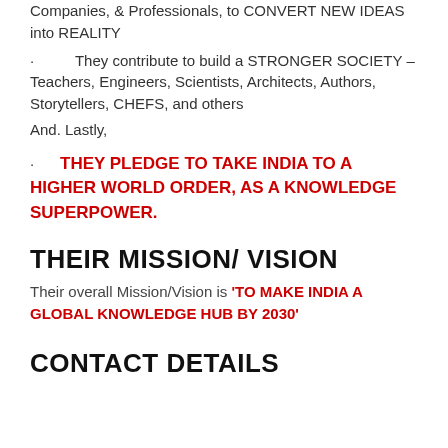Companies, & Professionals, to CONVERT NEW IDEAS into REALITY
They contribute to build a STRONGER SOCIETY – Teachers, Engineers, Scientists, Architects, Authors, Storytellers, CHEFS, and others
And. Lastly,
THEY PLEDGE TO TAKE INDIA TO A HIGHER WORLD ORDER, AS A KNOWLEDGE SUPERPOWER.
THEIR MISSION/ VISION
Their overall Mission/Vision is 'TO MAKE INDIA A GLOBAL KNOWLEDGE HUB BY 2030'
CONTACT DETAILS